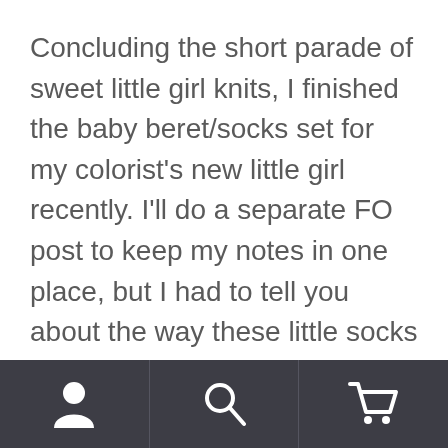Concluding the short parade of sweet little girl knits, I finished the baby beret/socks set for my colorist's new little girl recently. I'll do a separate FO post to keep my notes in one place, but I had to tell you about the way these little socks are constructed. Strangest. Things. Ever.
[Figure (photo): Broken/placeholder image thumbnail, small square with green landscape icon]
When finished, they look like normal socks.
Navigation tab bar with user/account icon, search icon, and shopping cart icon